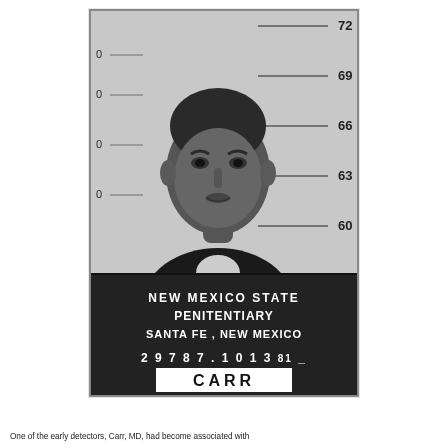[Figure (photo): Black and white mugshot photo of a man at New Mexico State Penitentiary, Santa Fe, New Mexico. Height ruler on right side with markings at 60, 63, 66, 69, 72 inches. Bottom of photo shows identification placard with text: NEW MEXICO STATE PENITENTIARY, SANTA FE, NEW MEXICO, 2 9 7 8 7 . 1 0 1 3 81, CARR.]
One of the earlydetectors, Carr, MD, had become associated with...